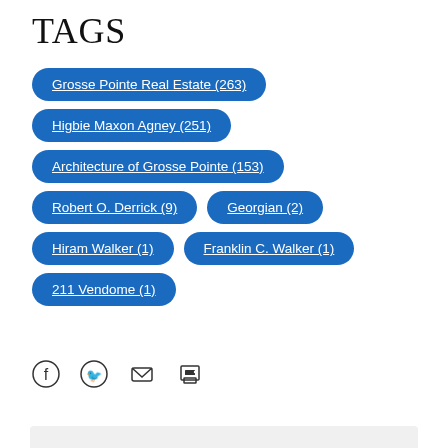TAGS
Grosse Pointe Real Estate (263)
Higbie Maxon Agney (251)
Architecture of Grosse Pointe (153)
Robert O. Derrick (9)
Georgian (2)
Hiram Walker (1)
Franklin C. Walker (1)
211 Vendome (1)
[Figure (other): Social sharing icons: Facebook, Twitter, Email, Print]